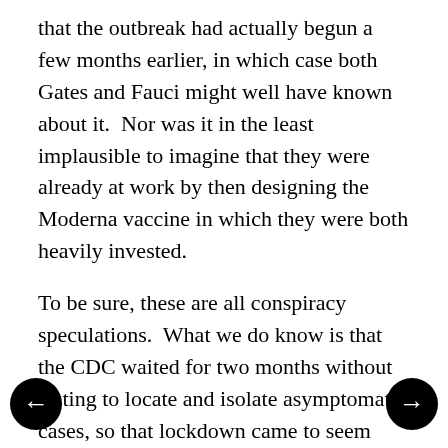that the outbreak had actually begun a few months earlier, in which case both Gates and Fauci might well have known about it. Nor was it in the least implausible to imagine that they were already at work by then designing the Moderna vaccine in which they were both heavily invested.
To be sure, these are all conspiracy speculations. What we do know is that the CDC waited for two months without testing to locate and isolate asymptomatic cases, so that lockdown came to seem necessary to "flatten the curve," even though it would inevitably prolong the outbreak, and that it has continued to oppose and impede antiviral treatments that have nevertheless proved to be effective. So again it is difficult to avoid the